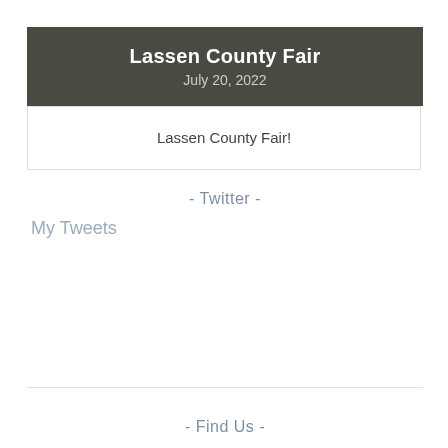Lassen County Fair
July 20, 2022
Lassen County Fair!
- Twitter -
My Tweets
- Find Us -